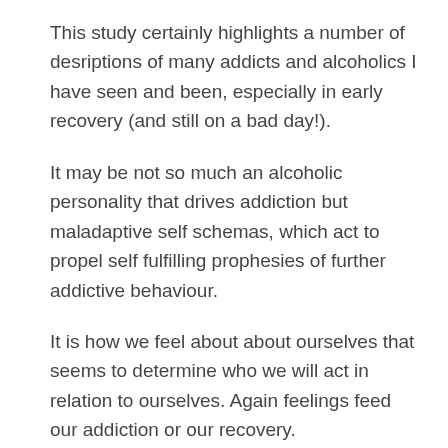This study certainly highlights a number of desriptions of many addicts and alcoholics I have seen and been, especially in early recovery (and still on a bad day!).
It may be not so much an alcoholic personality that drives addiction but maladaptive self schemas, which act to propel self fulfilling prophesies of further addictive behaviour.
It is how we feel about about ourselves that seems to determine who we will act in relation to ourselves. Again feelings feed our addiction or our recovery.